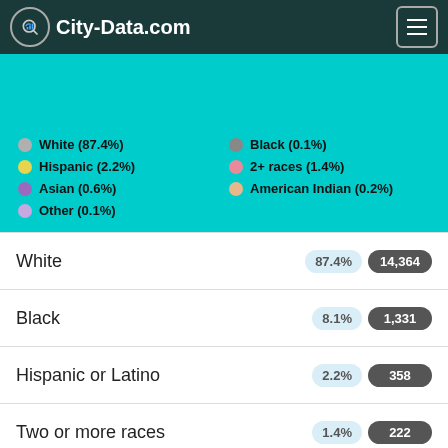City-Data.com
[Figure (other): Race/ethnicity legend with colored dots: White (87.4%), Black (0.1%), Hispanic (2.2%), 2+ races (1.4%), Asian (0.6%), American Indian (0.2%), Other (0.1%)]
| Race | Percent | Count |
| --- | --- | --- |
| White | 87.4% | 14,364 |
| Black | 8.1% | 1,331 |
| Hispanic or Latino | 2.2% | 358 |
| Two or more races | 1.4% | 222 |
| Asian | 0.6% | 100 |
| American Indian | 0.2% | 41 |
| Some other race | 0.1% | 21 |